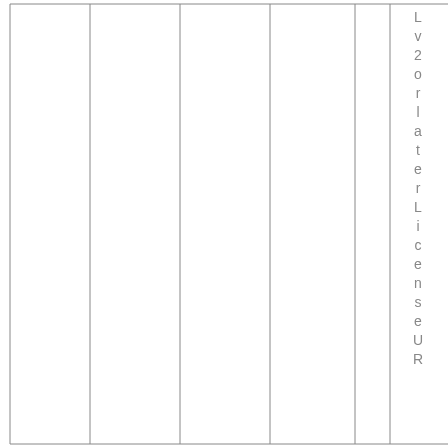[Figure (other): Table or form with multiple vertical column lines drawn across the page, and rotated vertical text on the right side reading 'Lv2orlaterLicenseUR']
Lv2orlater License UR